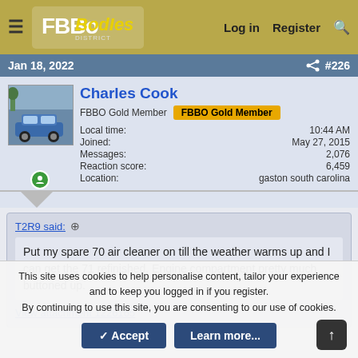FBBo B Bodies - Log in  Register
Jan 18, 2022  #226
Charles Cook
FBBO Gold Member  FBBO Gold Member
Local time: 10:44 AM
Joined: May 27, 2015
Messages: 2,076
Reaction score: 6,459
Location: gaston south carolina
T2R9 said: ↑
Put my spare 70 air cleaner on till the weather warms up and I can get the 71 refinished. Engine compartment pretty much buttoned up.
View attachment 1226165
This site uses cookies to help personalise content, tailor your experience and to keep you logged in if you register.
By continuing to use this site, you are consenting to our use of cookies.
Accept  Learn more...